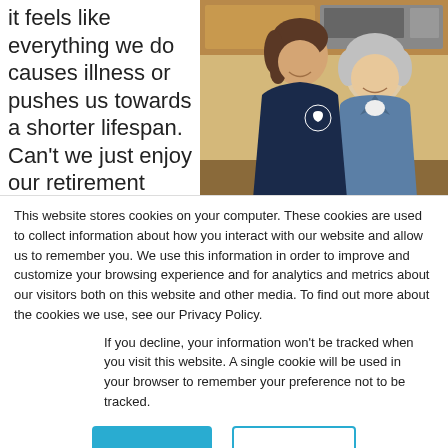it feels like everything we do causes illness or pushes us towards a shorter lifespan. Can't we just enjoy our retirement years? This latest article said that too much protein can cause prostate cancer
[Figure (photo): A younger woman in a dark polo shirt and an older woman in a denim jacket, both smiling and looking at something together in what appears to be a kitchen setting.]
This website stores cookies on your computer. These cookies are used to collect information about how you interact with our website and allow us to remember you. We use this information in order to improve and customize your browsing experience and for analytics and metrics about our visitors both on this website and other media. To find out more about the cookies we use, see our Privacy Policy.
If you decline, your information won't be tracked when you visit this website. A single cookie will be used in your browser to remember your preference not to be tracked.